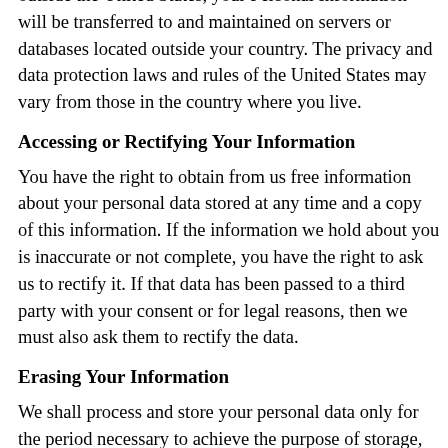outside the United States, your Personal Information will be transferred to and maintained on servers or databases located outside your country. The privacy and data protection laws and rules of the United States may vary from those in the country where you live.
Accessing or Rectifying Your Information
You have the right to obtain from us free information about your personal data stored at any time and a copy of this information. If the information we hold about you is inaccurate or not complete, you have the right to ask us to rectify it. If that data has been passed to a third party with your consent or for legal reasons, then we must also ask them to rectify the data.
Erasing Your Information
We shall process and store your personal data only for the period necessary to achieve the purpose of storage, or as far as this is granted by applicable laws or regulations to